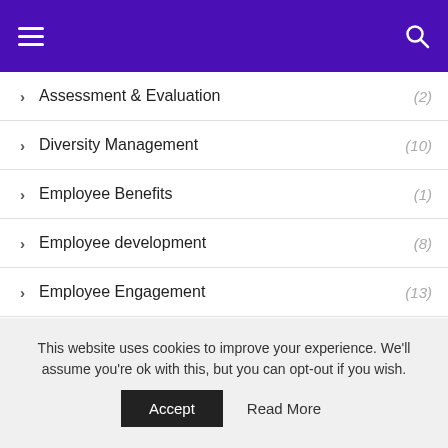Navigation header with menu and search icons
Assessment & Evaluation (2)
Diversity Management (10)
Employee Benefits (1)
Employee development (8)
Employee Engagement (13)
Employee Health & Safety (9)
Employee Relations (7)
This website uses cookies to improve your experience. We'll assume you're ok with this, but you can opt-out if you wish. Accept  Read More